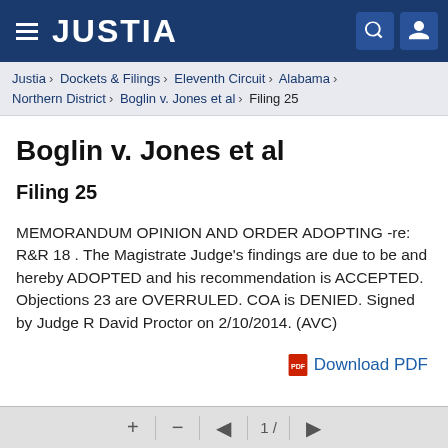JUSTIA
Justia › Dockets & Filings › Eleventh Circuit › Alabama › Northern District › Boglin v. Jones et al › Filing 25
Boglin v. Jones et al
Filing 25
MEMORANDUM OPINION AND ORDER ADOPTING -re: R&R 18 . The Magistrate Judge's findings are due to be and hereby ADOPTED and his recommendation is ACCEPTED. Objections 23 are OVERRULED. COA is DENIED. Signed by Judge R David Proctor on 2/10/2014. (AVC)
Download PDF